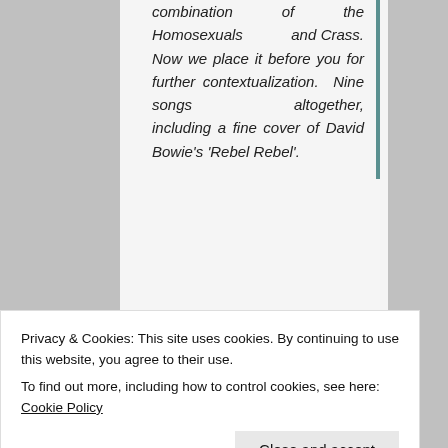combination of the Homosexuals and Crass. Now we place it before you for further contextualization. Nine songs altogether, including a fine cover of David Bowie's 'Rebel Rebel'.
Demented DIY from Wollongong from 1978. Fucking good on ya, mates.
This could so easily be on Virtual Cool from
Privacy & Cookies: This site uses cookies. By continuing to use this website, you agree to their use.
To find out more, including how to control cookies, see here: Cookie Policy
[Figure (screenshot): Listen in browser button/bar with orange accent and gray background]